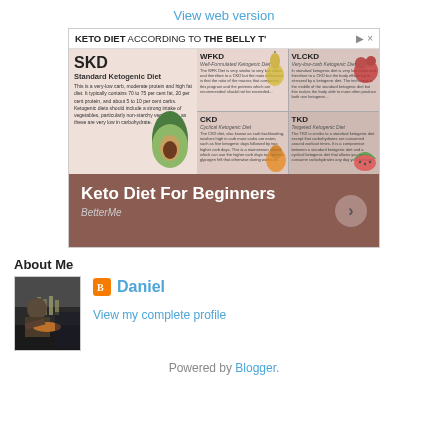View web version
[Figure (infographic): Advertisement infographic for Keto Diet for Beginners by BetterMe. Shows four keto diet types: SKD (Standard Ketogenic Diet), WFKD (Well-Formulated Ketogenic Diet), VLCKD (Very-low-carb Ketogenic Diet), CKD (Cyclical Ketogenic Diet), TKD (Targeted Ketogenic Diet). Bottom section shows large white text 'Keto Diet For Beginners' with BetterMe branding and a circular arrow button.]
About Me
[Figure (photo): Photo of Daniel, a person working in what appears to be a kitchen or restaurant setting]
Daniel
View my complete profile
Powered by Blogger.